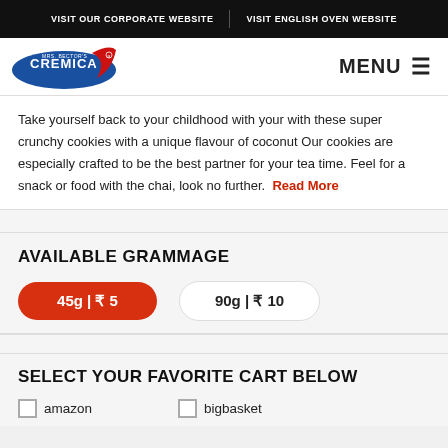VISIT OUR CORPORATE WEBSITE | VISIT ENGLISH OVEN WEBSITE
[Figure (logo): Cremica (Mrs. Bector's) logo — blue oval with red swish and white text]
MENU ≡
Take yourself back to your childhood with your with these super crunchy cookies with a unique flavour of coconut Our cookies are especially crafted to be the best partner for your tea time. Feel for a snack or food with the chai, look no further. Read More
AVAILABLE GRAMMAGE
45g | ₹ 5
90g | ₹ 10
SELECT YOUR FAVORITE CART BELOW
amazon
bigbasket